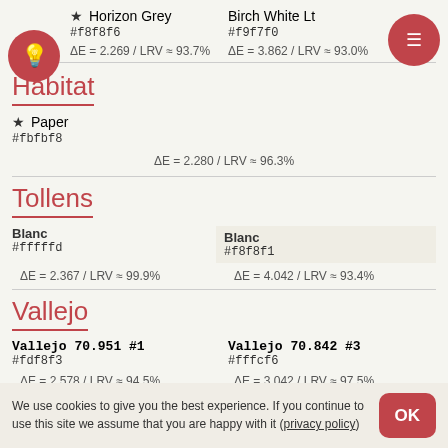★ Horizon Grey
#f8f8f6
ΔE = 2.269 / LRV ≈ 93.7%
Birch White Lt
#f9f7f0
ΔE = 3.862 / LRV ≈ 93.0%
Habitat
★ Paper
#fbfbf8
ΔE = 2.280 / LRV ≈ 96.3%
Tollens
Blanc
#fffffd
ΔE = 2.367 / LRV ≈ 99.9%
Blanc
#f8f8f1
ΔE = 4.042 / LRV ≈ 93.4%
Vallejo
Vallejo 70.951 #1
#fdf8f3
ΔE = 2.578 / LRV ≈ 94.5%
Vallejo 70.842 #3
#fffcf6
ΔE = 3.042 / LRV ≈ 97.5%
We use cookies to give you the best experience. If you continue to use this site we assume that you are happy with it (privacy policy)